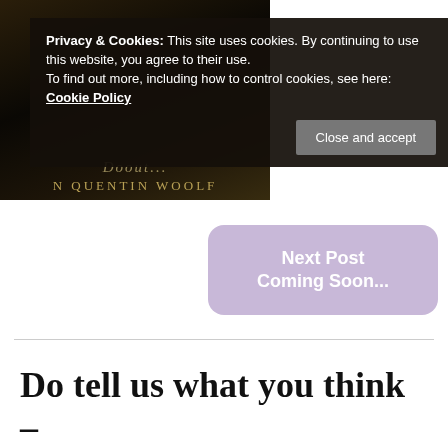[Figure (photo): Book cover image showing dark background with golden text reading partial title and 'N QUENTIN WOOLF' as author name]
Privacy & Cookies: This site uses cookies. By continuing to use this website, you agree to their use.
To find out more, including how to control cookies, see here: Cookie Policy
Close and accept
Next Post Coming Soon...
Do tell us what you think –